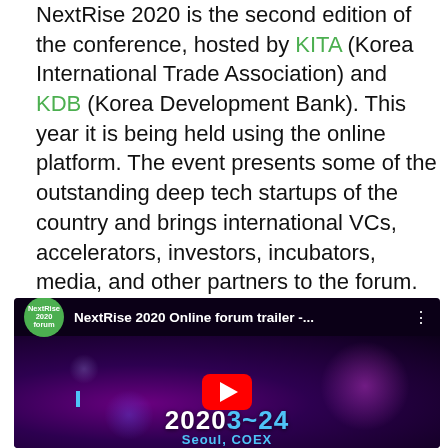NextRise 2020 is the second edition of the conference, hosted by KITA (Korea International Trade Association) and KDB (Korea Development Bank). This year it is being held using the online platform. The event presents some of the outstanding deep tech startups of the country and brings international VCs, accelerators, investors, incubators, media, and other partners to the forum. Fifty global online sessions, including speeches, seminars, lectures, are held over two days of June 23-24 on YouTube, instead of the offline exhibition.
[Figure (screenshot): YouTube video thumbnail for 'NextRise 2020 Online forum trailer -...' showing a dark purple/violet background with bokeh light effects, a large red YouTube play button in the center, the text '2023~24' and 'Seoul, COEX' visible, and the NextRise logo (green circle) in the top left corner.]